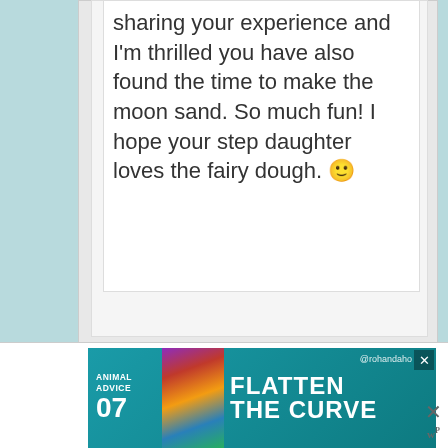sharing your experience and I'm thrilled you have also found the time to make the moon sand. So much fun! I hope your step daughter loves the fairy dough. 🙂
[Figure (screenshot): Advertisement banner for 'Animal Advice 07 - Flatten the Curve' with teal background, colorful animal illustration, and close button]